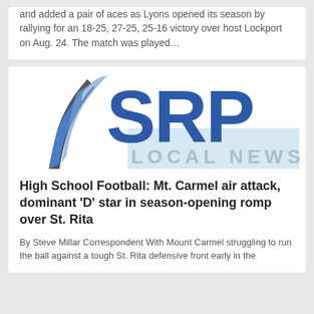and added a pair of aces as Lyons opened its season by rallying for an 18-25, 27-25, 25-16 victory over host Lockport on Aug. 24. The match was played…
[Figure (logo): SRP Local News logo with blue feather quill and large blue SRP letters above 'LOCAL NEWS' text]
High School Football: Mt. Carmel air attack, dominant 'D' star in season-opening romp over St. Rita
By Steve Millar Correspondent With Mount Carmel struggling to run the ball against a tough St. Rita defensive front early in the